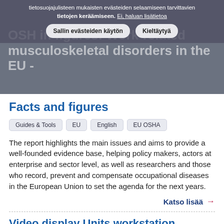tietosuojajulisteen mukaisten evästeiden selaamiseen tarvittavien tietojen keräämiseen. Ei, haluan lisätietoa
Sallin evästeiden käytön   Kieltäytyä
OSH in figures: Work-related musculoskeletal disorders in the EU - Facts and figures
Guides & Tools
EU
English
EU OSHA
The report highlights the main issues and aims to provide a well-founded evidence base, helping policy makers, actors at enterprise and sector level, as well as researchers and those who record, prevent and compensate occupational diseases in the European Union to set the agenda for the next years.
Katso lisää →
Video display Units workstation